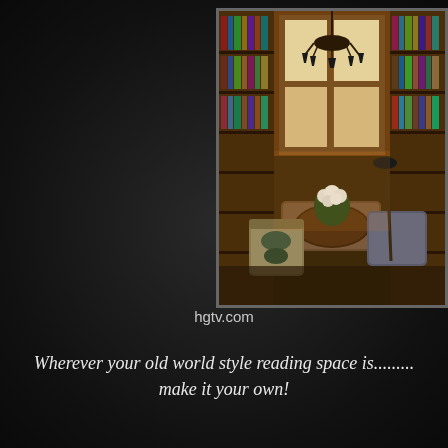[Figure (photo): Interior photograph of an old world style library/reading room with floor-to-ceiling bookshelves, large windows with warm light, a chandelier, round wooden table, armchairs, and floral arrangement, sourced from hgtv.com]
hgtv.com
Wherever your old world style reading space is......... make it your own!